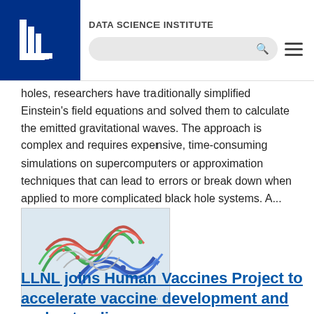DATA SCIENCE INSTITUTE
holes, researchers have traditionally simplified Einstein's field equations and solved them to calculate the emitted gravitational waves. The approach is complex and requires expensive, time-consuming simulations on supercomputers or approximation techniques that can lead to errors or break down when applied to more complicated black hole systems. A...
[Figure (photo): Colorful molecular or protein structure visualization with red, green, blue, and white tangled filaments on a light background]
LLNL joins Human Vaccines Project to accelerate vaccine development and understanding